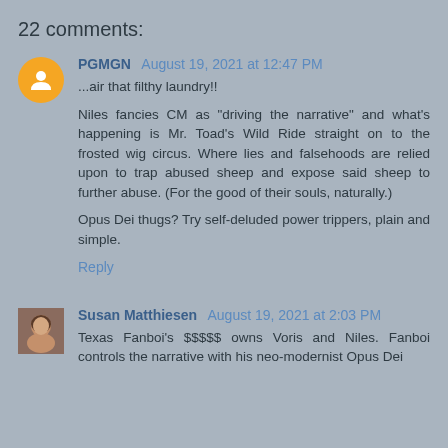22 comments:
PGMGN  August 19, 2021 at 12:47 PM
...air that filthy laundry!!
Niles fancies CM as "driving the narrative" and what's happening is Mr. Toad's Wild Ride straight on to the frosted wig circus. Where lies and falsehoods are relied upon to trap abused sheep and expose said sheep to further abuse. (For the good of their souls, naturally.)
Opus Dei thugs? Try self-deluded power trippers, plain and simple.
Reply
Susan Matthiesen  August 19, 2021 at 2:03 PM
Texas Fanboi's $$$$$ owns Voris and Niles. Fanboi controls the narrative with his neo-modernist Opus Dei